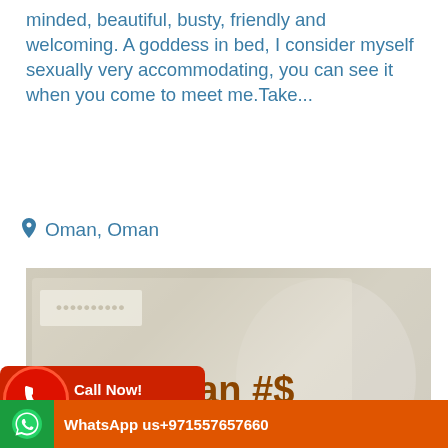minded, beautiful, busty, friendly and welcoming. A goddess in bed, I consider myself sexually very accommodating, you can see it when you come to meet me.Take...
Oman, Oman
[Figure (photo): Blurred/censored photo with overlay text]
Call Now! +971557657660
nan #$
WhatsApp us+971557657660
+0100522741000 #$ ur call